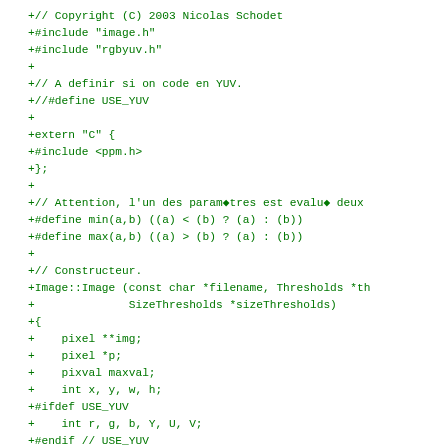+// Copyright (C) 2003 Nicolas Schodet
+#include "image.h"
+#include "rgbyuv.h"
+
+// A definir si on code en YUV.
+//#define USE_YUV
+
+extern "C" {
+#include <ppm.h>
+};
+
+// Attention, l'un des paramètres est evalué deux
+#define min(a,b) ((a) < (b) ? (a) : (b))
+#define max(a,b) ((a) > (b) ? (a) : (b))
+
+// Constructeur.
+Image::Image (const char *filename, Thresholds *th
+              SizeThresholds *sizeThresholds)
+{
+    pixel **img;
+    pixel *p;
+    pixval maxval;
+    int x, y, w, h;
+#ifdef USE_YUV
+    int r, g, b, Y, U, V;
+#endif // USE_YUV
+    FILE *fp;
+    unsigned char *pi;
+    // Open the file.
+    fp = fopen (filename, "r");